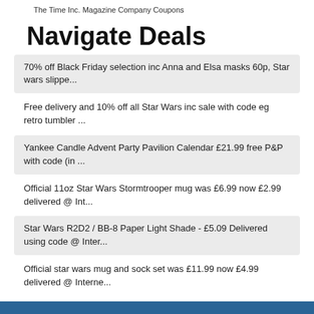The Time Inc. Magazine Company Coupons
Navigate Deals
70% off Black Friday selection inc Anna and Elsa masks 60p, Star wars slippe...
Free delivery and 10% off all Star Wars inc sale with code eg retro tumbler ...
Yankee Candle Advent Party Pavilion Calendar £21.99 free P&P with code (in ...
Official 11oz Star Wars Stormtrooper mug was £6.99 now £2.99 delivered @ Int...
Star Wars R2D2 / BB-8 Paper Light Shade - £5.09 Delivered using code @ Inter...
Official star wars mug and sock set was £11.99 now £4.99 delivered @ Interne...